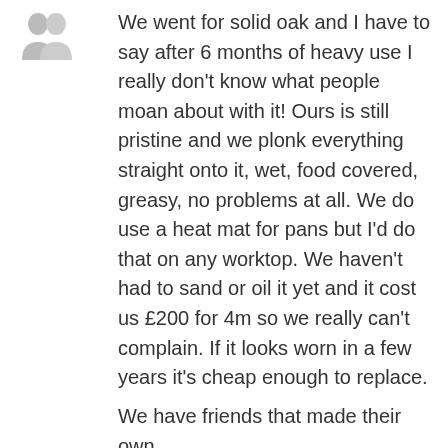[Figure (illustration): Grey avatar icon showing two overlapping quotation mark / profile silhouettes]
We went for solid oak and I have to say after 6 months of heavy use I really don't know what people moan about with it! Ours is still pristine and we plonk everything straight onto it, wet, food covered, greasy, no problems at all. We do use a heat mat for pans but I'd do that on any worktop. We haven't had to sand or oil it yet and it cost us £200 for 4m so we really can't complain. If it looks worn in a few years it's cheap enough to replace.
We have friends that made their own